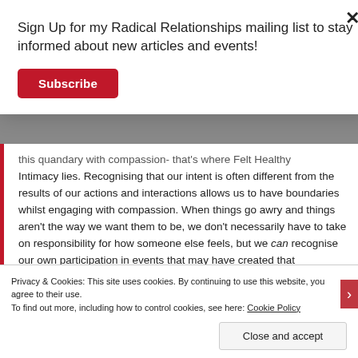Sign Up for my Radical Relationships mailing list to stay informed about new articles and events!
Subscribe
this quandary with compassion- that's where Felt Healthy Intimacy lies. Recognising that our intent is often different from the results of our actions and interactions allows us to have boundaries whilst engaging with compassion. When things go awry and things aren't the way we want them to be, we don't necessarily have to take on responsibility for how someone else feels, but we can recognise our own participation in events that may have created that experience- and, more importantly, if those events have been ones that
Privacy & Cookies: This site uses cookies. By continuing to use this website, you agree to their use.
To find out more, including how to control cookies, see here: Cookie Policy
Close and accept